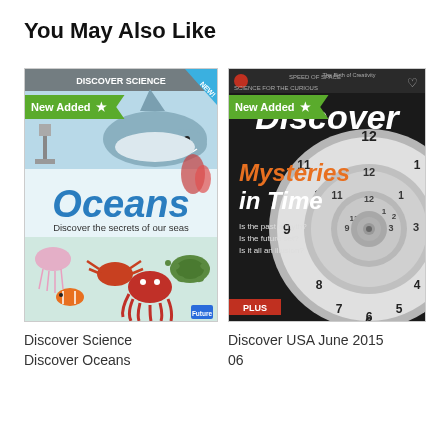You May Also Like
[Figure (photo): Magazine cover: Discover Science Discover Oceans — shows a shark, sea creatures, octopus, turtle, jellyfish, crab, clownfish; title says 'Oceans Discover the secrets of our seas'; green 'New Added ★' badge]
[Figure (photo): Magazine cover: Discover USA June 2015 06 — shows a spiraling clock face with 'Mysteries in Time' headline; green 'New Added ★' badge]
Discover Science
Discover Oceans
Discover USA June 2015
06